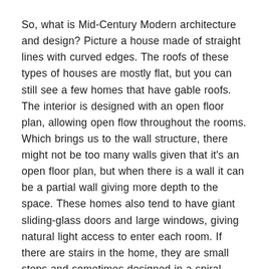So, what is Mid-Century Modern architecture and design? Picture a house made of straight lines with curved edges. The roofs of these types of houses are mostly flat, but you can still see a few homes that have gable roofs. The interior is designed with an open floor plan, allowing open flow throughout the rooms. Which brings us to the wall structure, there might not be too many walls given that it's an open floor plan, but when there is a wall it can be a partial wall giving more depth to the space. These homes also tend to have giant sliding-glass doors and large windows, giving natural light access to enter each room. If there are stairs in the home, they are small steps and sometimes designed in a spiral style.
Mid-Century Modern architecture designs and